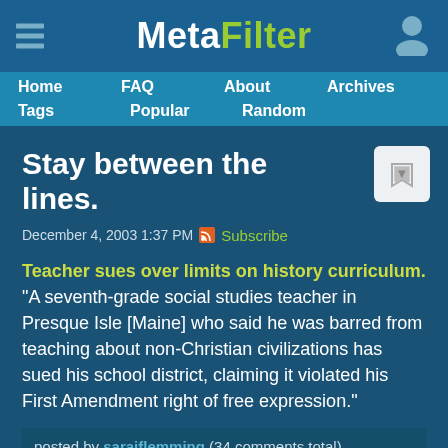MetaFilter
Home   FAQ   About   Archives   Tags   Popular   Random
Stay between the lines.
December 4, 2003 1:37 PM   Subscribe
Teacher sues over limits on history curriculum. "A seventh-grade social studies teacher in Presque Isle [Maine] who said he was barred from teaching about non-Christian civilizations has sued his school district, claiming it violated his First Amendment right of free expression."
posted by sarajflemming (34 comments total)